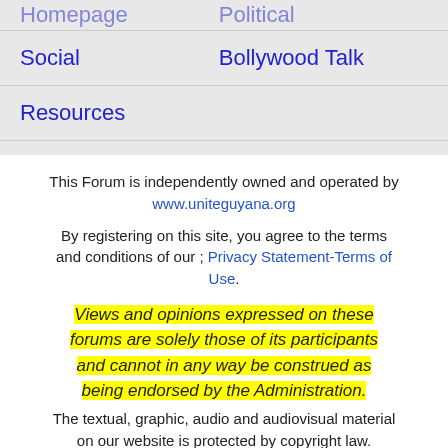| Homepage | Political |
| Social | Bollywood Talk |
| Resources |  |
This Forum is independently owned and operated by www.uniteguyana.org
By registering on this site, you agree to the terms and conditions of our ; Privacy Statement-Terms of Use.
Views and opinions expressed on these forums are solely those of its participants and cannot in any way be construed as being endorsed by the Administration.
The textual, graphic, audio and audiovisual material on our website is protected by copyright law.
Any trademarks are the property of their respective owners.
Please send your comments or questions...